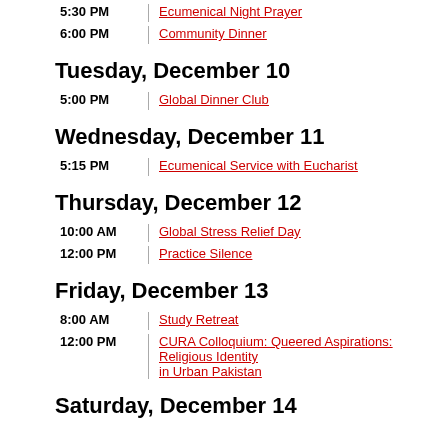5:30 PM | Ecumenical Night Prayer
6:00 PM | Community Dinner
Tuesday, December 10
5:00 PM | Global Dinner Club
Wednesday, December 11
5:15 PM | Ecumenical Service with Eucharist
Thursday, December 12
10:00 AM | Global Stress Relief Day
12:00 PM | Practice Silence
Friday, December 13
8:00 AM | Study Retreat
12:00 PM | CURA Colloquium: Queered Aspirations: Religious Identity in Urban Pakistan
Saturday, December 14